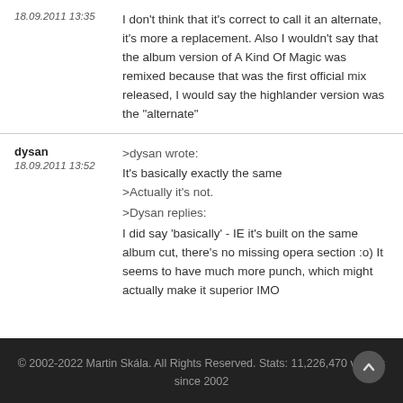18.09.2011 13:35 — I don't think that it's correct to call it an alternate, it's more a replacement. Also I wouldn't say that the album version of A Kind Of Magic was remixed because that was the first official mix released, I would say the highlander version was the "alternate"
dysan
18.09.2011 13:52 — >dysan wrote:
It's basically exactly the same
>Actually it's not.
>Dysan replies:
I did say 'basically' - IE it's built on the same album cut, there's no missing opera section :o) It seems to have much more punch, which might actually make it superior IMO
© 2002-2022 Martin Skála. All Rights Reserved. Stats: 11,226,470 visitors since 2002